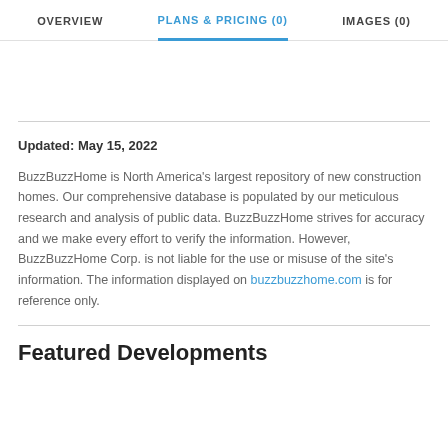OVERVIEW   PLANS & PRICING (0)   IMAGES (0)
Updated: May 15, 2022

BuzzBuzzHome is North America's largest repository of new construction homes. Our comprehensive database is populated by our meticulous research and analysis of public data. BuzzBuzzHome strives for accuracy and we make every effort to verify the information. However, BuzzBuzzHome Corp. is not liable for the use or misuse of the site's information. The information displayed on buzzbuzzhome.com is for reference only.
Featured Developments